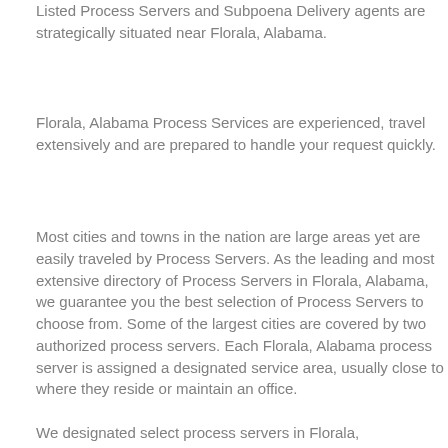Listed Process Servers and Subpoena Delivery agents are strategically situated near Florala, Alabama.
Florala, Alabama Process Services are experienced, travel extensively and are prepared to handle your request quickly.
Most cities and towns in the nation are large areas yet are easily traveled by Process Servers. As the leading and most extensive directory of Process Servers in Florala, Alabama, we guarantee you the best selection of Process Servers to choose from. Some of the largest cities are covered by two authorized process servers. Each Florala, Alabama process server is assigned a designated service area, usually close to where they reside or maintain an office.
We designated select process servers in Florala,